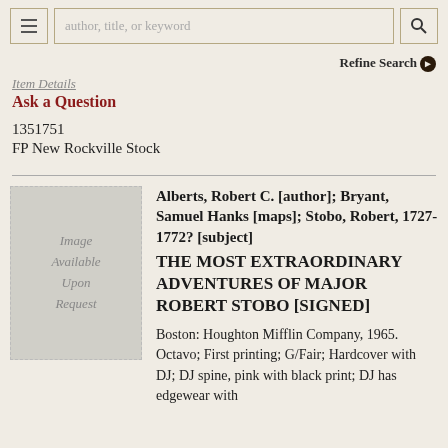author, title, or keyword
Refine Search
Item Details
Ask a Question
1351751
FP New Rockville Stock
[Figure (illustration): Placeholder book cover image with text 'Image Available Upon Request']
Alberts, Robert C. [author]; Bryant, Samuel Hanks [maps]; Stobo, Robert, 1727-1772? [subject]
THE MOST EXTRAORDINARY ADVENTURES OF MAJOR ROBERT STOBO [SIGNED]
Boston: Houghton Mifflin Company, 1965. Octavo; First printing; G/Fair; Hardcover with DJ; DJ spine, pink with black print; DJ has edgewear with